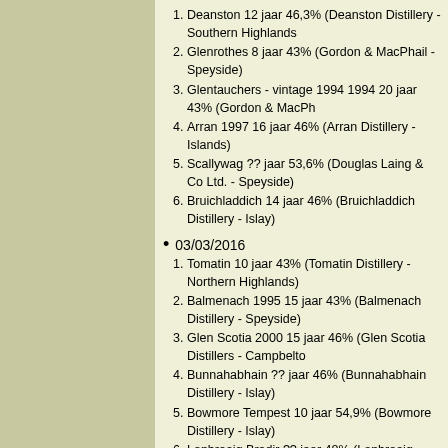1. Deanston 12 jaar 46,3% (Deanston Distillery - Southern Highlands)
2. Glenrothes 8 jaar 43% (Gordon & MacPhail - Speyside)
3. Glentauchers - vintage 1994 1994 20 jaar 43% (Gordon & MacPh...)
4. Arran 1997 16 jaar 46% (Arran Distillery - Islands)
5. Scallywag ?? jaar 53,6% (Douglas Laing & Co Ltd. - Speyside)
6. Bruichladdich 14 jaar 46% (Bruichladdich Distillery - Islay)
• 03/03/2016
1. Tomatin 10 jaar 43% (Tomatin Distillery - Northern Highlands)
2. Balmenach 1995 15 jaar 43% (Balmenach Distillery - Speyside)
3. Glen Scotia 2000 15 jaar 46% (Glen Scotia Distillers - Campbelto...)
4. Bunnahabhain ?? jaar 46% (Bunnahabhain Distillery - Islay)
5. Bowmore Tempest 10 jaar 54,9% (Bowmore Distillery - Islay)
6. Laphroaig Brodir ?? jaar 48% (Laphroaig Distillery - Islay)
• 07/04/2016
1. Hazelburn 10 jaar 46% (Springbank Distillery - Campbeltown)
2. Tomintoul 16 jaar 40% (Tomintoul Distillery - Speyside)
3. GlenDronach Allardice 18 jaar 46% (GlenDronach Distillery - Eas...)
4. Ledaig 18 jaar 46,3% (Tobermory Distillery - Isle of Mull)
5. Laphroaig Select ?? jaar 40% (Laphroaig Distillery - Islay)
6. Finlaggan ?? jaar 58% (Caol Ila Distillery - Islay)
2016-2017
• 06/10/2016
1. Ben Nevis ?? jaar 40% (Ben Nevis Distillery - Western Highlands)
2. Wolfburn 3 jaar 46% (Wolfburn Distillery - Northern Highlands)
3. Glentromie 17 jaar 40% (Glentromie Distillery - Speyside)